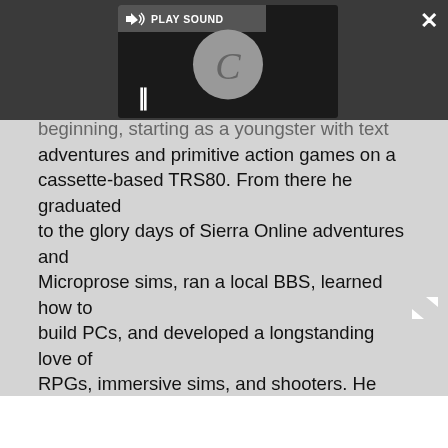[Figure (screenshot): A dark media player overlay UI element showing a 'PLAY SOUND' button with speaker icon, a loading spinner circle, and a pause button (||). Also shows a close (×) button and expand arrows button in the dark overlay.]
beginning, starting as a youngster with text adventures and primitive action games on a cassette-based TRS80. From there he graduated to the glory days of Sierra Online adventures and Microprose sims, ran a local BBS, learned how to build PCs, and developed a longstanding love of RPGs, immersive sims, and shooters. He began writing videogame news in 2007 for The Escapist and somehow managed to avoid getting fired until 2014, when he joined the storied ranks of PC Gamer. He covers all aspects of the industry, from new game announcements and patch notes to